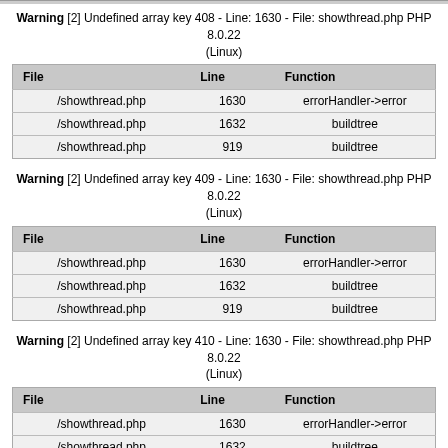Warning [2] Undefined array key 408 - Line: 1630 - File: showthread.php PHP 8.0.22 (Linux)
| File | Line | Function |
| --- | --- | --- |
| /showthread.php | 1630 | errorHandler->error |
| /showthread.php | 1632 | buildtree |
| /showthread.php | 919 | buildtree |
Warning [2] Undefined array key 409 - Line: 1630 - File: showthread.php PHP 8.0.22 (Linux)
| File | Line | Function |
| --- | --- | --- |
| /showthread.php | 1630 | errorHandler->error |
| /showthread.php | 1632 | buildtree |
| /showthread.php | 919 | buildtree |
Warning [2] Undefined array key 410 - Line: 1630 - File: showthread.php PHP 8.0.22 (Linux)
| File | Line | Function |
| --- | --- | --- |
| /showthread.php | 1630 | errorHandler->error |
| /showthread.php | 1632 | buildtree |
| /showthread.php | 919 | buildtree |
Warning [2] Undefined array key 411 - Line: 1630 - File: showthread.php PHP 8.0.22